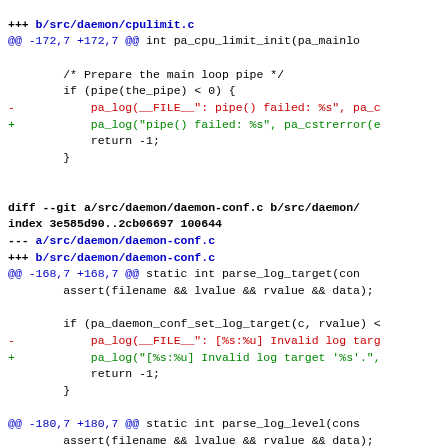+++ b/src/daemon/cpulimit.c
@@ -172,7 +172,7 @@ int pa_cpu_limit_init(pa_mainlo
/* Prepare the main loop pipe */
if (pipe(the_pipe) < 0) {
-           pa_log(__FILE__": pipe() failed: %s", pa_c
+           pa_log("pipe() failed: %s", pa_cstrerror(e
return -1;
}
diff --git a/src/daemon/daemon-conf.c b/src/daemon/
index 3e585d90..2cb06697 100644
--- a/src/daemon/daemon-conf.c
+++ b/src/daemon/daemon-conf.c
@@ -168,7 +168,7 @@ static int parse_log_target(con
assert(filename && lvalue && rvalue && data);
if (pa_daemon_conf_set_log_target(c, rvalue) <
-           pa_log(__FILE__": [%s:%u] Invalid log targ
+           pa_log("[%s:%u] Invalid log target '%s'.",
return -1;
}
@@ -180,7 +180,7 @@ static int parse_log_level(cons
assert(filename && lvalue && rvalue && data);
if (pa_daemon_conf_set_log_level(c, rvalue) <
-           pa_log(__FILE__": [%s:%u] Invalid log leve
+           pa_log("[%s:%u] Invalid log level '%s'.",